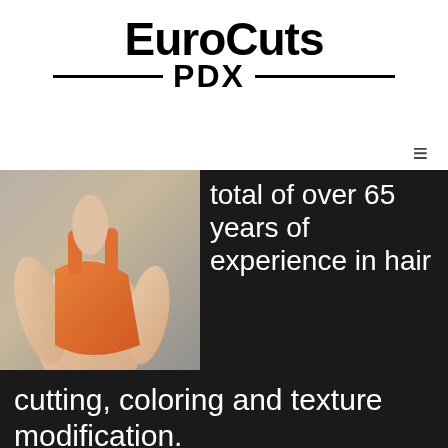EuroCuts PDX
[Figure (photo): Fashion photo showing person in orange top, close-up torso view, dark background]
total of over 65 years of experience in hair cutting, coloring and texture modification.
The owner, Steven Earl, features training from advanced teams from Vidal Sassoon